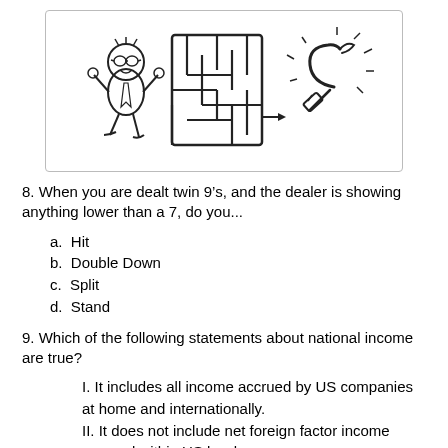[Figure (illustration): Cartoon illustration showing a panicked man, a maze, and a hammer-and-sickle symbol with radiating lines, enclosed in a rounded rectangle border.]
8. When you are dealt twin 9’s, and the dealer is showing anything lower than a 7, do you...
a. Hit
b. Double Down
c. Split
d. Stand
9. Which of the following statements about national income are true?
I. It includes all income accrued by US companies at home and internationally.
II. It does not include net foreign factor income accrued within US borders.